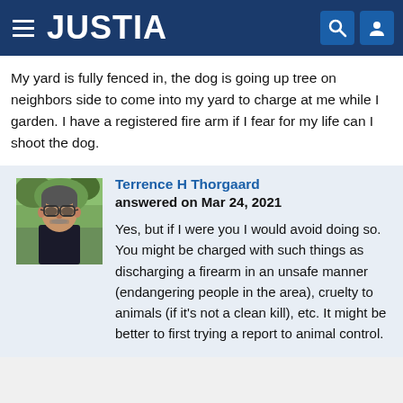JUSTIA
My yard is fully fenced in, the dog is going up tree on neighbors side to come into my yard to charge at me while I garden. I have a registered fire arm if I fear for my life can I shoot the dog.
[Figure (photo): Headshot photo of Terrence H Thorgaard, a middle-aged man with glasses and grey facial stubble wearing a dark shirt, photographed outdoors.]
Terrence H Thorgaard
answered on Mar 24, 2021

Yes, but if I were you I would avoid doing so. You might be charged with such things as discharging a firearm in an unsafe manner (endangering people in the area), cruelty to animals (if it's not a clean kill), etc. It might be better to first trying a report to animal control.